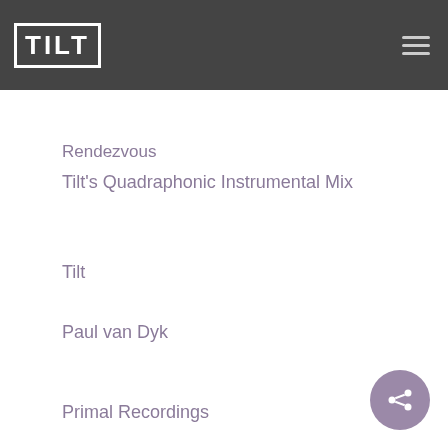[Figure (logo): TILT logo in white text on dark grey background header bar with hamburger menu icon]
Rendezvous
Tilt's Quadraphonic Instrumental Mix
Tilt
Paul van Dyk
Primal Recordings